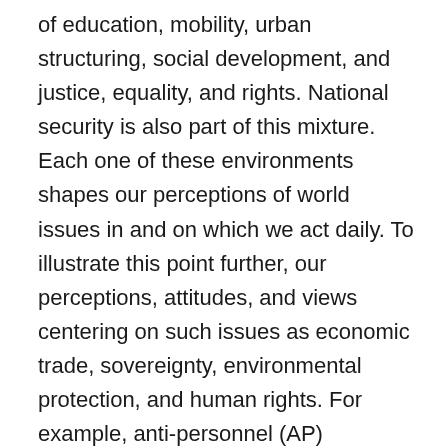of education, mobility, urban structuring, social development, and justice, equality, and rights. National security is also part of this mixture. Each one of these environments shapes our perceptions of world issues in and on which we act daily. To illustrate this point further, our perceptions, attitudes, and views centering on such issues as economic trade, sovereignty, environmental protection, and human rights. For example, anti-personnel (AP) landmines have been used as a military weapon and yet despite their perceived usefulness in some military establishments and military or even political leaders, AP landmine consequences have generated a level of abhorrence so as to create a powerful basis of support for their complete ban. Canada and other states sharing similar views spearheaded the charge for the creation of an international agreement, which came to be known as the Ottawa Treaty that facilitated the banning of the use of